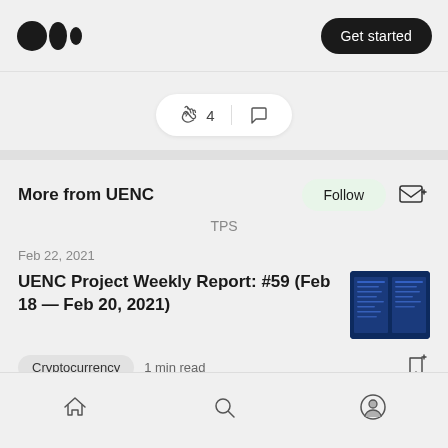Get started
[Figure (screenshot): Clap (4) and comment action pill buttons]
More from UENC
TPS
Feb 22, 2021
UENC Project Weekly Report: #59 (Feb 18 — Feb 20, 2021)
[Figure (screenshot): Article thumbnail showing a dark blue document]
Cryptocurrency  1 min read
Home  Search  Profile